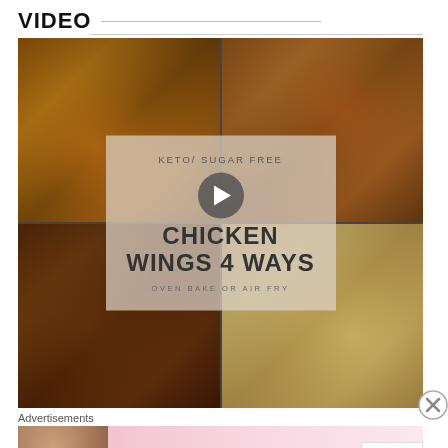VIDEO
[Figure (screenshot): Video thumbnail showing a 2x2 grid of chicken wing food photos with a semi-transparent center overlay reading 'KETO/ SUGAR FREE CHICKEN WINGS 4 WAYS OVEN BAKE OR AIR FRY' with a play button in the center. Four quadrants show different preparations of chicken wings.]
Advertisements
[Figure (photo): Victoria's Secret advertisement banner with a model, VS logo, text 'SHOP THE COLLECTION' and a white button reading 'SHOP NOW']